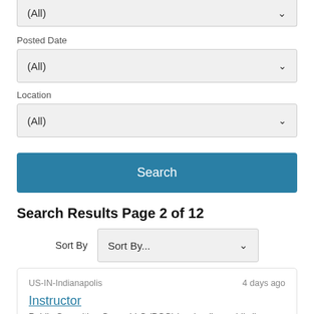(All)
Posted Date
(All)
Location
(All)
Search
Search Results Page 2 of 12
Sort By
Sort By...
US-IN-Indianapolis   4 days ago
Instructor
Public Consulting Group LLC (PCG) is a leading public li...